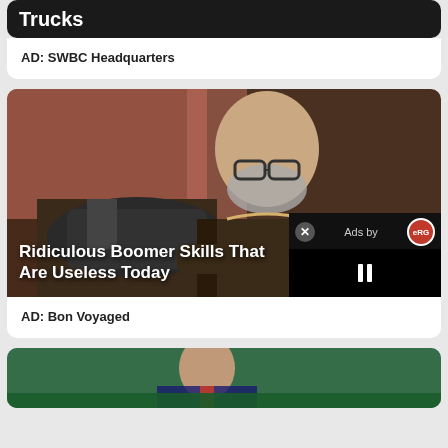[Figure (screenshot): Top card showing partial image with 'Trucks' text on dark background]
AD: SWBC Headquarters
[Figure (photo): Elderly bald man with beard and glasses wearing a measuring tape around neck, working at a sewing machine in a tailor shop]
Ridiculous Boomer Skills That Are Useless Today
[Figure (screenshot): Video ad overlay with X close button, 'Ads by eRG' label, and pause button on black background]
AD: Bon Voyaged
[Figure (photo): Partial view of person at bottom of page, green background suggesting a pool or billiards table]